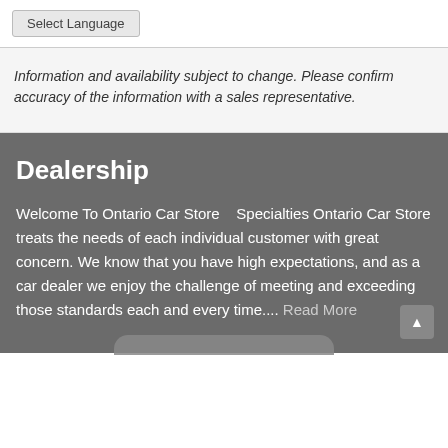Select Language
Information and availability subject to change. Please confirm accuracy of the information with a sales representative.
Dealership
Welcome To Ontario Car Store    Specialties Ontario Car Store treats the needs of each individual customer with great concern. We know that you have high expectations, and as a car dealer we enjoy the challenge of meeting and exceeding those standards each and every time.... Read More